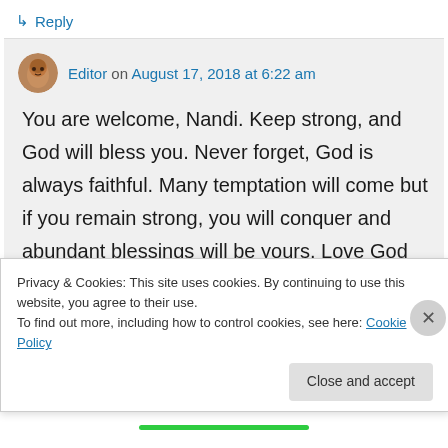↳ Reply
Editor on August 17, 2018 at 6:22 am
You are welcome, Nandi. Keep strong, and God will bless you. Never forget, God is always faithful. Many temptation will come but if you remain strong, you will conquer and abundant blessings will be yours. Love God and all will be well with you, for He
Privacy & Cookies: This site uses cookies. By continuing to use this website, you agree to their use.
To find out more, including how to control cookies, see here: Cookie Policy
Close and accept